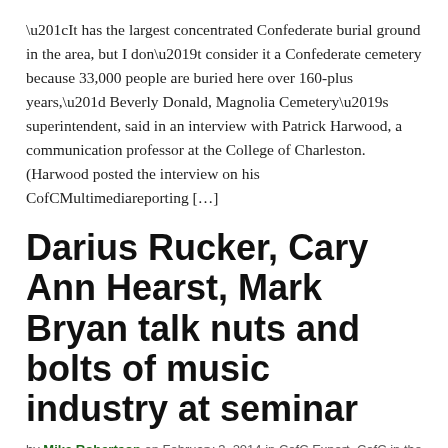“It has the largest concentrated Confederate burial ground in the area, but I don’t consider it a Confederate cemetery because 33,000 people are buried here over 160-plus years,” Beverly Donald, Magnolia Cemetery’s superintendent, said in an interview with Patrick Harwood, a communication professor at the College of Charleston. (Harwood posted the interview on his CofCMultimediareporting […]
Darius Rucker, Cary Ann Hearst, Mark Bryan talk nuts and bolts of music industry at seminar
by Mike Robertson on February 3, 2014 in CofC Expert, CofC in the Community, In the News
Three of those musicians – Darius Rucker and Mark Bryan of